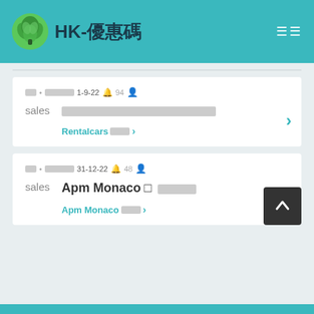HK-優惠碼
sales • [redacted] 1-9-22 🔔 94 👤 [redacted title] Rentalcars [redacted] >
sales • [redacted] 31-12-22 🔔 48 👤 Apm Monaco [redacted] Apm Monaco [redacted] >